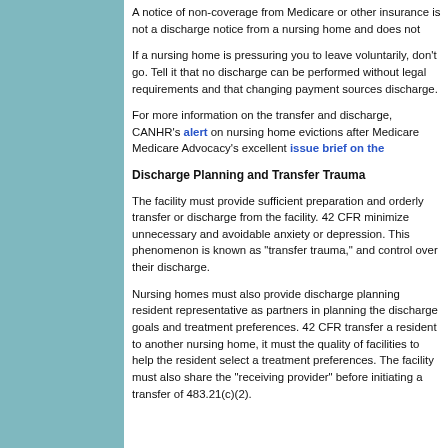A notice of non-coverage from Medicare or other insurers is not a discharge notice from a nursing home and does not...
If a nursing home is pressuring you to leave voluntarily, don't go. Tell it that no discharge can be performed without legal requirements and that changing payment sources discharge.
For more information on the transfer and discharge... CANHR's alert on nursing home evictions after Me... Medicare Advocacy's excellent issue brief on the...
Discharge Planning and Transfer Trauma
The facility must provide sufficient preparation and orderly transfer or discharge from the facility. 42 CF... minimize unnecessary and avoidable anxiety or de... This phenomenon is known as "transfer trauma," a... control over their discharge.
Nursing homes must also provide discharge planni... resident representative as partners in planning the discharge goals and treatment preferences. 42 CF... transfer a resident to another nursing home, it mus... the quality of facilities to help the resident select a treatment preferences. The facility must also share the "receiving provider" before initiating a transfer c... 483.21(c)(2).